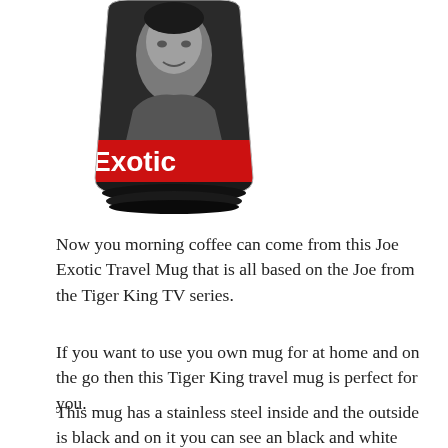[Figure (photo): A travel mug with a black and white photo of Joe Exotic on it. The mug has a red band near the bottom with white text reading 'Exotic'. The mug has a black base.]
Now you morning coffee can come from this Joe Exotic Travel Mug that is all based on the Joe from the Tiger King TV series.
If you want to use you own mug for at home and on the go then this Tiger King travel mug is perfect for you.
This mug has a stainless steel inside and the outside is black and on it you can see an black and white